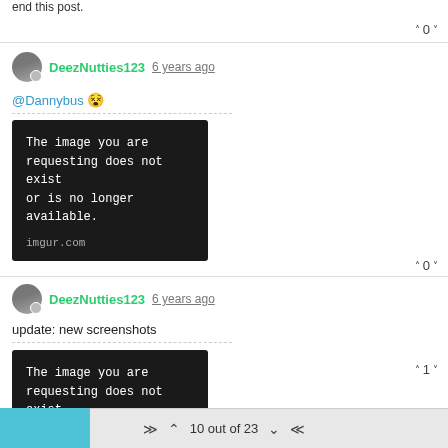end this post.
^ 0 v
DeezNutties123  6 years ago
@Dannybus 😝
[Figure (screenshot): Black card with white monospace text: 'The image you are requesting does not exist or is no longer available.' and 'imgur.com' at bottom]
^ 0 v
DeezNutties123  6 years ago
update: new screenshots
[Figure (screenshot): Black card with white monospace text: 'The image you are requesting does not exist or is no longer available.' and 'imgur.com' at bottom]
^ 1 v
10 out of 23